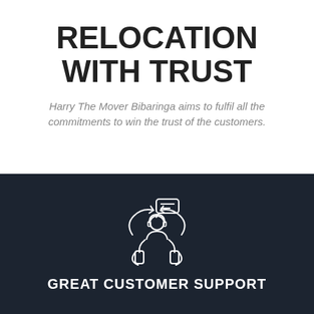RELOCATION WITH TRUST
Harry The Mover Bibaringa aims to fulfil all the commitments to win the trust of the customers.
[Figure (illustration): White line icon of a customer support agent with headset, circular arrows, and a chat bubble on a dark navy background]
GREAT CUSTOMER SUPPORT